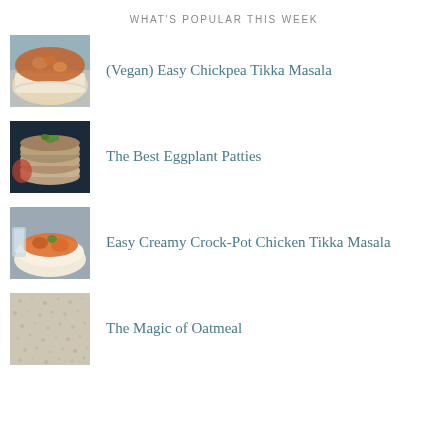WHAT'S POPULAR THIS WEEK
[Figure (photo): Bowl of chickpea tikka masala with rice]
(Vegan) Easy Chickpea Tikka Masala
[Figure (photo): Stack of eggplant patties with sauce]
The Best Eggplant Patties
[Figure (photo): Bowl of creamy crock-pot chicken tikka masala with rice]
Easy Creamy Crock-Pot Chicken Tikka Masala
[Figure (photo): Close-up texture of oatmeal]
The Magic of Oatmeal